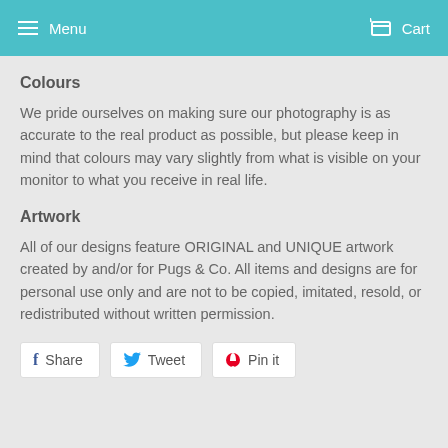Menu  Cart
Colours
We pride ourselves on making sure our photography is as accurate to the real product as possible, but please keep in mind that colours may vary slightly from what is visible on your monitor to what you receive in real life.
Artwork
All of our designs feature ORIGINAL and UNIQUE artwork created by and/or for Pugs & Co. All items and designs are for personal use only and are not to be copied, imitated, resold, or redistributed without written permission.
Share  Tweet  Pin it